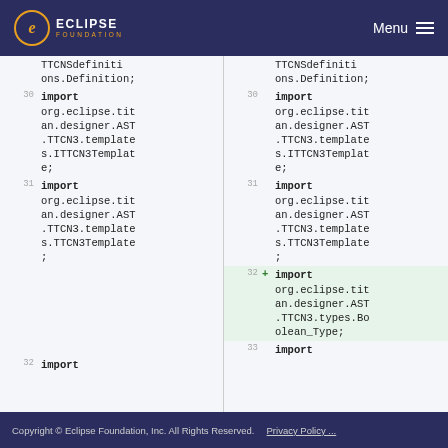Eclipse Foundation — Menu
Left panel diff view showing lines 30-32 with import statements for org.eclipse.titan.designer.AST.TTCN3.templates.ITTCN3Template, org.eclipse.titan.designer.AST.TTCN3.templates.TTCN3Template, and import (line 32)
Right panel diff view showing lines 30-33 with the same imports plus added line 32: import org.eclipse.titan.designer.AST.TTCN3.types.Boolean_Type;
Copyright © Eclipse Foundation, Inc. All Rights Reserved.  Privacy Policy ...